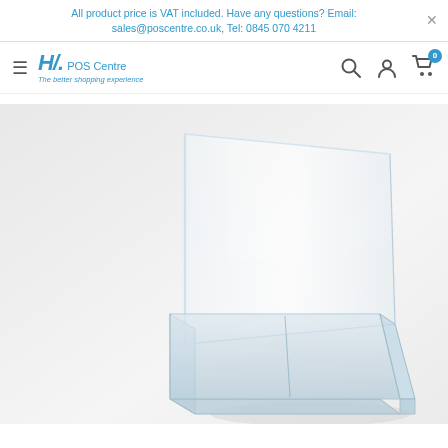All product price is VAT included. Have any questions? Email: sales@poscentre.co.uk, Tel: 0845 070 4211
[Figure (logo): HL POS Centre logo with tagline 'The better shopping experience']
[Figure (photo): Clear acrylic brochure holder/leaflet display stand with a pocket at the bottom and a backboard, photographed on a white/light grey background]